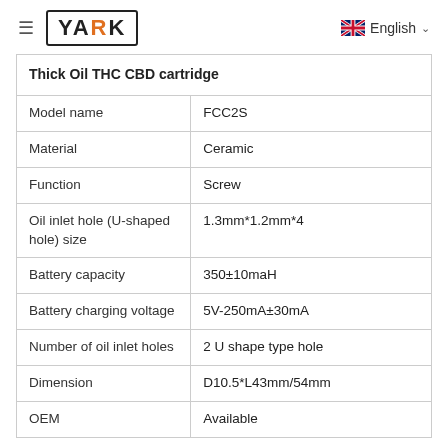≡ YARK  English
| Thick Oil THC CBD cartridge |  |
| --- | --- |
| Model name | FCC2S |
| Material | Ceramic |
| Function | Screw |
| Oil inlet hole (U-shaped hole) size | 1.3mm*1.2mm*4 |
| Battery capacity | 350±10maH |
| Battery charging voltage | 5V-250mA±30mA |
| Number of oil inlet holes | 2 U shape type hole |
| Dimension | D10.5*L43mm/54mm |
| OEM | Available |